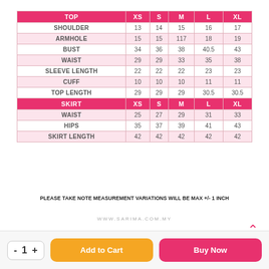| TOP | XS | S | M | L | XL |
| --- | --- | --- | --- | --- | --- |
| SHOULDER | 13 | 14 | 15 | 16 | 17 |
| ARMHOLE | 15 | 15 | 117 | 18 | 19 |
| BUST | 34 | 36 | 38 | 40.5 | 43 |
| WAIST | 29 | 29 | 33 | 35 | 38 |
| SLEEVE LENGTH | 22 | 22 | 22 | 23 | 23 |
| CUFF | 10 | 10 | 10 | 11 | 11 |
| TOP LENGTH | 29 | 29 | 29 | 30.5 | 30.5 |
| SKIRT | XS | S | M | L | XL |
| WAIST | 25 | 27 | 29 | 31 | 33 |
| HIPS | 35 | 37 | 39 | 41 | 43 |
| SKIRT LENGTH | 42 | 42 | 42 | 42 | 42 |
PLEASE TAKE NOTE MEASUREMENT VARIATIONS WILL BE MAX +/- 1 INCH
WWW.SARIMA.COM.MY